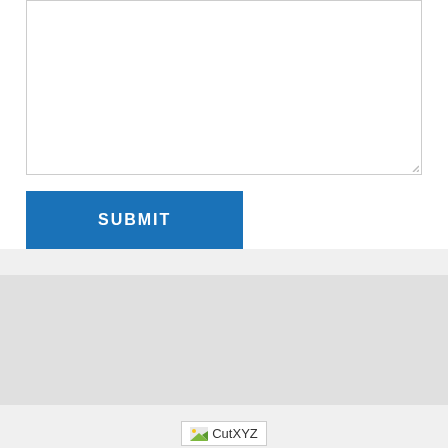[Figure (screenshot): A textarea input box with resize handle in bottom-right corner]
[Figure (screenshot): A blue SUBMIT button]
[Figure (screenshot): Grey spacer section]
[Figure (logo): CutXYZ logo with small image icon]
© 2016 CUTXYZ.COM
[Figure (infographic): Row of 5 dark social media icon buttons: f (Facebook), bird (Twitter), S (Skype), in (LinkedIn), t (Tumblr)]
Login/Sign up